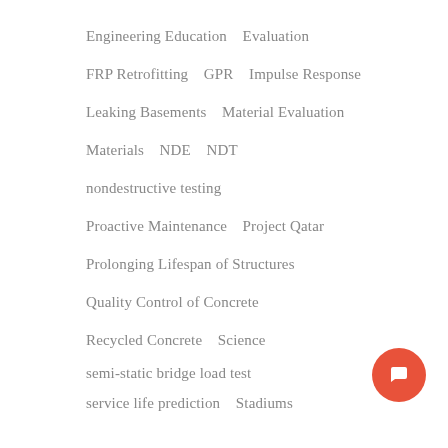Engineering Education   Evaluation
FRP Retrofitting   GPR   Impulse Response
Leaking Basements   Material Evaluation
Materials   NDE   NDT
nondestructive testing
Proactive Maintenance   Project Qatar
Prolonging Lifespan of Structures
Quality Control of Concrete
Recycled Concrete   Science
semi-static bridge load test
service life prediction   Stadiums
static load test
structural assessment of bridges
Sulphate Attacks on Concrete   Technology